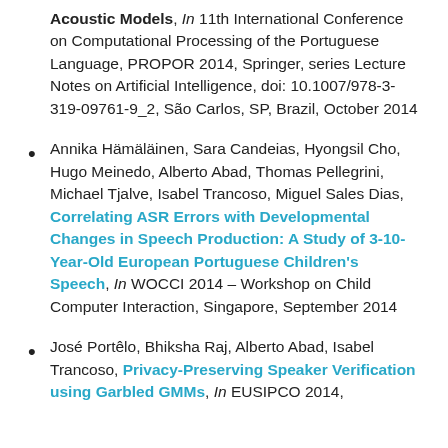Acoustic Models, In 11th International Conference on Computational Processing of the Portuguese Language, PROPOR 2014, Springer, series Lecture Notes on Artificial Intelligence, doi: 10.1007/978-3-319-09761-9_2, São Carlos, SP, Brazil, October 2014
Annika Hämäläinen, Sara Candeias, Hyongsil Cho, Hugo Meinedo, Alberto Abad, Thomas Pellegrini, Michael Tjalve, Isabel Trancoso, Miguel Sales Dias, Correlating ASR Errors with Developmental Changes in Speech Production: A Study of 3-10-Year-Old European Portuguese Children's Speech, In WOCCI 2014 – Workshop on Child Computer Interaction, Singapore, September 2014
José Portêlo, Bhiksha Raj, Alberto Abad, Isabel Trancoso, Privacy-Preserving Speaker Verification using Garbled GMMs, In EUSIPCO 2014,